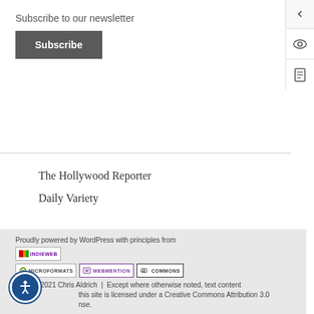Subscribe to our newsletter
Subscribe
The Hollywood Reporter
Daily Variety
Proudly powered by WordPress with principles from IndieWeb | Microformats | Webmention | Commons
© 1996-2021 Chris Aldrich | Except where otherwise noted, text content
this site is licensed under a Creative Commons Attribution 3.0
nse.